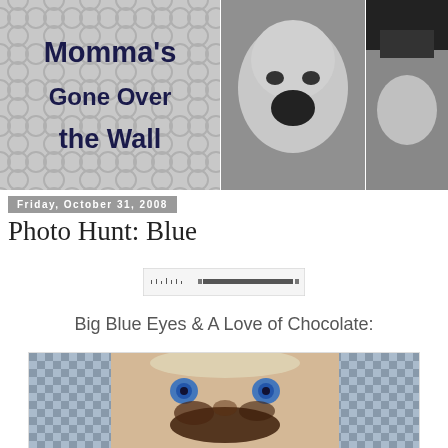[Figure (photo): Blog header banner with three panels: left panel shows blog title text 'Momma's Gone Over The Wall' on a gray quatrefoil patterned background; middle panel shows a black-and-white photo of a laughing baby; right panel shows a black-and-white photo of a child in a hat]
Friday, October 31, 2008
Photo Hunt: Blue
[Figure (other): Small Photo Hunt widget/badge showing a horizontal bar with dots pattern]
Big Blue Eyes & A Love of Chocolate:
[Figure (photo): Color photo of a young child with big blue eyes and chocolate smeared on their face, set against a checkered background]